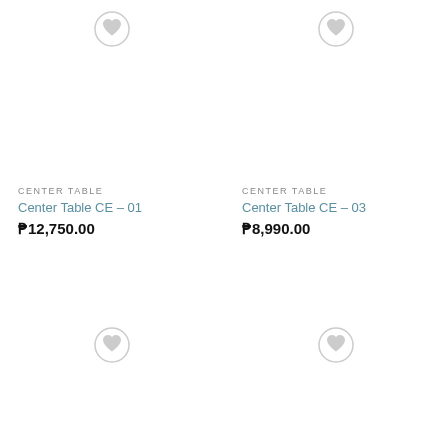[Figure (other): Product card for Center Table CE-01 with wishlist heart icon button]
CENTER TABLE
Center Table CE – 01
₱12,750.00
[Figure (other): Product card for Center Table CE-03 with wishlist heart icon button]
CENTER TABLE
Center Table CE – 03
₱8,990.00
[Figure (other): Product card bottom-left with wishlist heart icon button (partial)]
[Figure (other): Product card bottom-right with wishlist heart icon button (partial)]